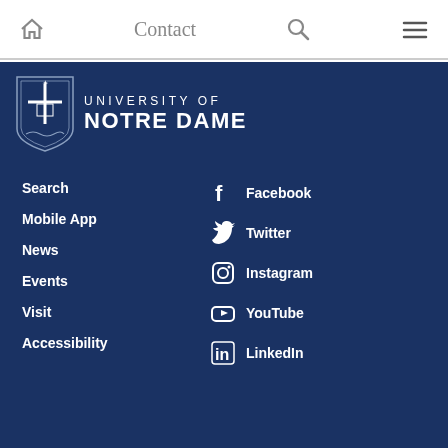Contact
[Figure (logo): University of Notre Dame shield logo with text UNIVERSITY OF NOTRE DAME]
Search
Mobile App
News
Events
Visit
Accessibility
Facebook
Twitter
Instagram
YouTube
LinkedIn